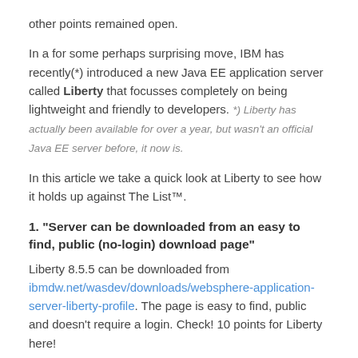other points remained open.
In a for some perhaps surprising move, IBM has recently(*) introduced a new Java EE application server called Liberty that focusses completely on being lightweight and friendly to developers. *) Liberty has actually been available for over a year, but wasn't an official Java EE server before, it now is.
In this article we take a quick look at Liberty to see how it holds up against The List™.
1. "Server can be downloaded from an easy to find, public (no-login) download page"
Liberty 8.5.5 can be downloaded from ibmdw.net/wasdev/downloads/websphere-application-server-liberty-profile. The page is easy to find, public and doesn't require a login. Check! 10 points for Liberty here!
2. "Download is a relatively small archive"